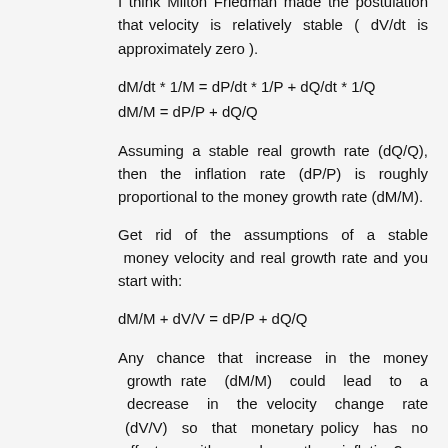I think Milton Friedman made the postulation that velocity is relatively stable ( dV/dt is approximately zero ).
Assuming a stable real growth rate (dQ/Q), then the inflation rate (dP/P) is roughly proportional to the money growth rate (dM/M).
Get rid of the assumptions of a stable money velocity and real growth rate and you start with:
Any chance that increase in the money growth rate (dM/M) could lead to a decrease in the velocity change rate (dV/V) so that monetary policy has no affect on either real growth or inflation?